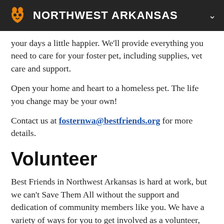NORTHWEST ARKANSAS
your days a little happier. We'll provide everything you need to care for your foster pet, including supplies, vet care and support.
Open your home and heart to a homeless pet. The life you change may be your own!
Contact us at fosternwa@bestfriends.org for more details.
Volunteer
Best Friends in Northwest Arkansas is hard at work, but we can't Save Them All without the support and dedication of community members like you. We have a variety of ways for you to get involved as a volunteer, including animal transport, assisting with